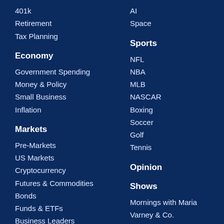401k
Retirement
Tax Planning
Economy
Government Spending
Money & Policy
Small Business
Inflation
Markets
Pre-Markets
US Markets
Cryptocurrency
Futures & Commodities
Bonds
Funds & ETFs
Business Leaders
AI
Space
Sports
NFL
NBA
MLB
NASCAR
Boxing
Soccer
Golf
Tennis
Opinion
Shows
Mornings with Maria
Varney & Co.